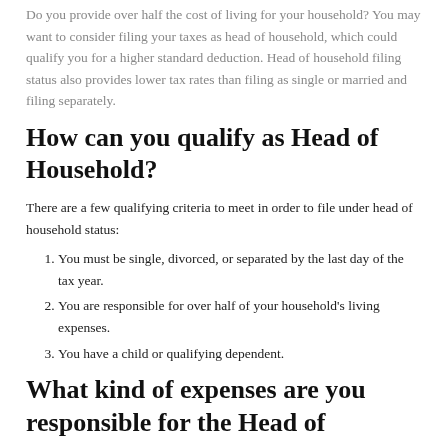Do you provide over half the cost of living for your household? You may want to consider filing your taxes as head of household, which could qualify you for a higher standard deduction. Head of household filing status also provides lower tax rates than filing as single or married and filing separately.
How can you qualify as Head of Household?
There are a few qualifying criteria to meet in order to file under head of household status:
You must be single, divorced, or separated by the last day of the tax year.
You are responsible for over half of your household's living expenses.
You have a child or qualifying dependent.
What kind of expenses are you responsible for the Head of